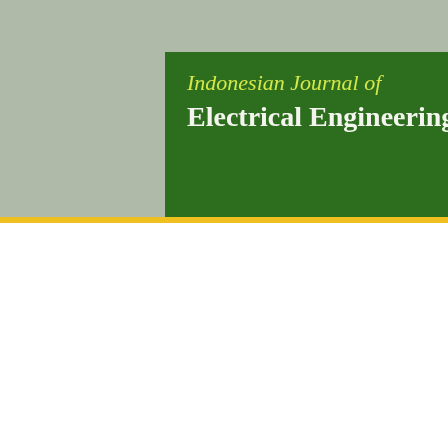[Figure (logo): Indonesian Journal of Electrical Engineering and... journal cover header. Green banner with yellow-green italic text 'Indonesian Journal of' on first line and bold white text 'Electrical Engineering and' on second line, set against a gray background with yellow stripe below.]